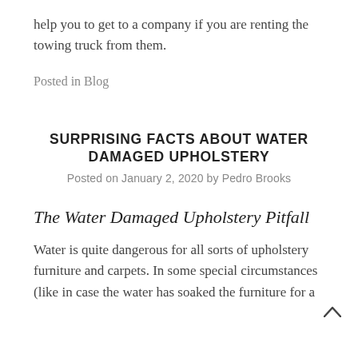help you to get to a company if you are renting the towing truck from them.
Posted in Blog
SURPRISING FACTS ABOUT WATER DAMAGED UPHOLSTERY
Posted on January 2, 2020 by Pedro Brooks
The Water Damaged Upholstery Pitfall
Water is quite dangerous for all sorts of upholstery furniture and carpets. In some special circumstances (like in case the water has soaked the furniture for a